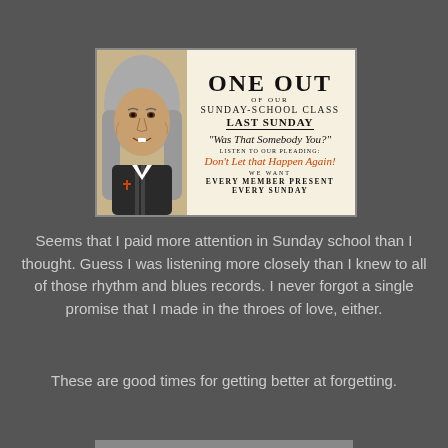[Figure (illustration): A vintage Sunday school attendance card featuring a photo-edited face of a man with long gray hair on the left side, and text on the right reading: ONE OUT OF OUR SUNDAY-SCHOOL CLASS LAST SUNDAY 'Was That Somebody You?' LISTEN TO OUR PLEADING: Don't Let that Happen Again! WE WANT EVERY MEMBER PRESENT EVERY SUNDAY]
Seems that I paid more attention in Sunday school than I thought. Guess I was listening more closely than I knew to all of those rhythm and blues records. I never forgot a single promise that I made in the throes of love, either.
These are good times for getting better at forgetting.